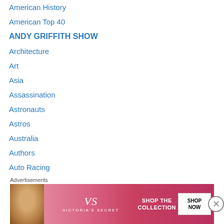American History
American Top 40
ANDY GRIFFITH SHOW
Architecture
Art
Asia
Assassination
Astronauts
Astros
Australia
Authors
Auto Racing
Automobiles
Autumn
Ballparks
Baseball
Basketball
Advertisements
[Figure (photo): Victoria's Secret advertisement banner with model and 'SHOP THE COLLECTION / SHOP NOW' call to action]